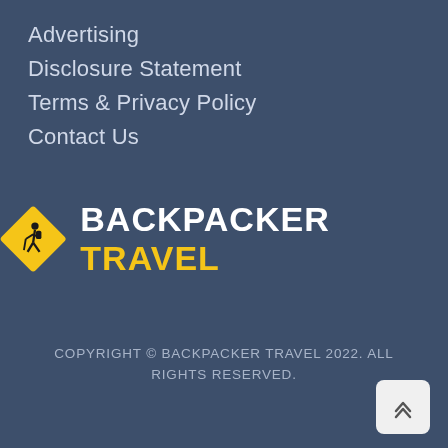Advertising
Disclosure Statement
Terms & Privacy Policy
Contact Us
[Figure (logo): Backpacker Travel logo: yellow diamond road-sign icon with hiker silhouette, followed by bold white text BACKPACKER and yellow text TRAVEL]
COPYRIGHT © BACKPACKER TRAVEL 2022. ALL RIGHTS RESERVED.